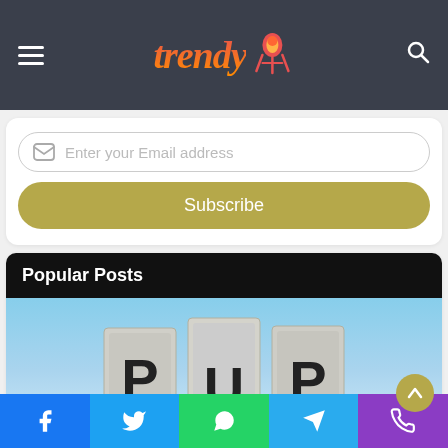Trendy [logo with icon]
Enter your Email address
Subscribe
Popular Posts
[Figure (photo): Photo showing large stone or concrete blocks with the letters P, U, P on them against a blue sky background.]